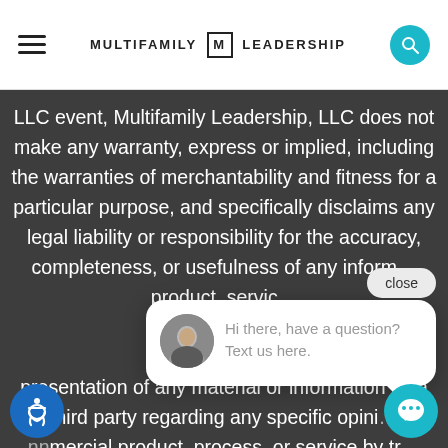MULTIFAMILY M LEADERSHIP
LLC event, Multifamily Leadership, LLC does not make any warranty, express or implied, including the warranties of merchantability and fitness for a particular purpose, and specifically disclaims any legal liability or responsibility for the accuracy, completeness, or usefulness of any infor... product, servic... no represent... upon privat... presentation of any material or information by a third party regarding any specific opinio... mmercial product, process, or service by tr...
Hi there, have a question? Text us here.